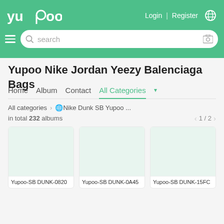Yupoo — Login | Register
Yupoo Nike Jordan Yeezy Balenciaga Bags
Home   Album   Contact   All Categories
All categories > 🌐Nike Dunk SB Yupoo ...
in total 232 albums   < 1 / 2 >
[Figure (screenshot): Product card: Yupoo-SB DUNK-0820]
[Figure (screenshot): Product card: Yupoo-SB DUNK-0A45]
[Figure (screenshot): Product card: Yupoo-SB DUNK-15FC]